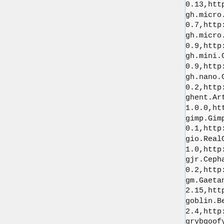0.13,http://www.robocodereposit...
gh.micro.Grinnik
0.7,http://www.robocoderepositc...
gh.micro.GrubbmThree
0.9,http://www.robocoderepositc...
gh.mini.Gruwel
0.9,http://www.robocoderepositc...
gh.nano.Grofvuil
0.2,http://www.robocoderepositc...
ghent.ArthurPanzergon
1.0.0,http://franck.jousseaume....
gimp.GimpBot
0.1,http://www.robocoderepositc...
gio.RealGioBot
1.0,http://www.robocoderepositc...
gjr.Cephalosporin
0.2,http://www.robocoderepositc...
gm.GaetanoA
2.15,http://www.robocodereposit...
goblin.Bender
2.4,http://www.robocoderepositc...
grybgoofy.GoofyBot
0.10,http://www.robocodereposit...
gtf.robocode.Strafer
2.1.1,http://www.cirp.org/tmp/r...